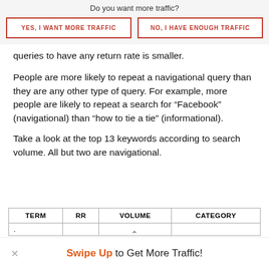Do you want more traffic?
YES, I WANT MORE TRAFFIC
NO, I HAVE ENOUGH TRAFFIC
queries to have any return rate is smaller.
People are more likely to repeat a navigational query than they are any other type of query. For example, more people are likely to repeat a search for “Facebook” (navigational) than “how to tie a tie” (informational).
Take a look at the top 13 keywords according to search volume. All but two are navigational.
| TERM | RR | VOLUME | CATEGORY |
| --- | --- | --- | --- |
| . |  |  |  |
Swipe Up to Get More Traffic!